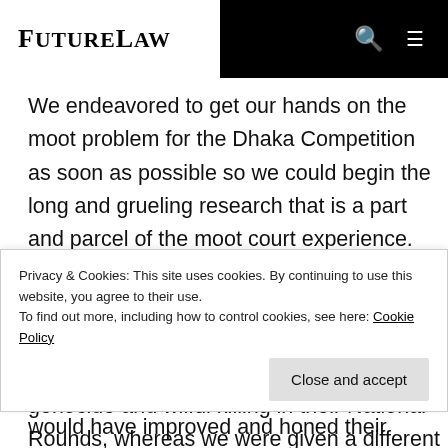FutureLaw
We endeavored to get our hands on the moot problem for the Dhaka Competition as soon as possible so we could begin the long and grueling research that is a part and parcel of the moot court experience. However, when we received the moot problem we were in for a shock; all the other teams participating in Dhaka were using the same moot problem involving genocide and wilful killing in their National Rounds, whereas we were given a different problem involving
Privacy & Cookies: This site uses cookies. By continuing to use this website, you agree to their use.
To find out more, including how to control cookies, see here: Cookie Policy
would have improved and honed their arguments for the